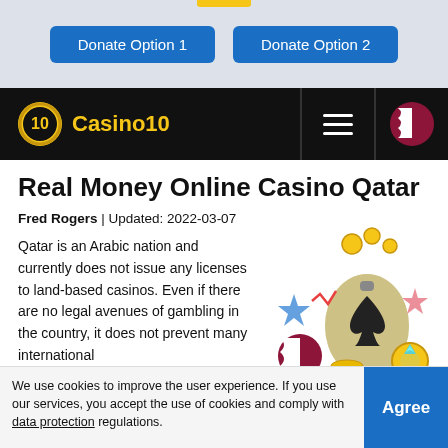[Figure (other): Top banner with two blue donate buttons and a yellow bar at top center]
Casino10 navigation bar with logo, hamburger menu, and Qatar flag
Real Money Online Casino Qatar
Fred Rogers | Updated: 2022-03-07
Qatar is an Arabic nation and currently does not issue any licenses to land-based casinos. Even if there are no legal avenues of gambling in the country, it does not prevent many international brands from offering their services through online domains. Hence
[Figure (illustration): Casino illustration with money bag, playing card spade, coins, stars, Qatar flag ball, and diamond ring]
We use cookies to improve the user experience. If you use our services, you accept the use of cookies and comply with data protection regulations.